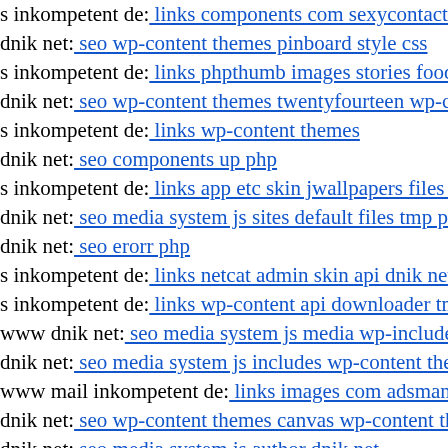s inkompetent de: links components com sexycontactform
dnik net: seo wp-content themes pinboard style css
s inkompetent de: links phpthumb images stories food php
dnik net: seo wp-content themes twentyfourteen wp-content
s inkompetent de: links wp-content themes
dnik net: seo components up php
s inkompetent de: links app etc skin jwallpapers files plupl
dnik net: seo media system js sites default files tmp pluplo
dnik net: seo erorr php
s inkompetent de: links netcat admin skin api dnik net
s inkompetent de: links wp-content api downloader tmp m
www dnik net: seo media system js media wp-includes inc
dnik net: seo media system js includes wp-content themes
www mail inkompetent de: links images com adsmanager
dnik net: seo wp-content themes canvas wp-content theme
dnik net: seo media system js author dnik net
www s inkompetent de: links manager skin wp-content plu
s inkompetent de: links app etc skin jwallpapers files plupl
www s inkompetent de: links manager skin wp-content plu
www dnik org: index git 1661563260
dnik net: seo wp-content themes canvas functions s inkon